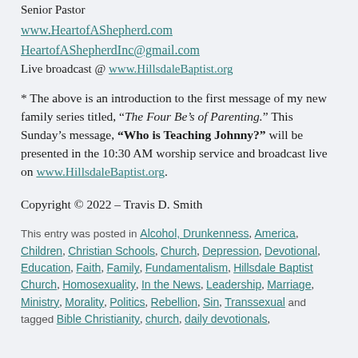Senior Pastor
www.HeartofAShepherd.com
HeartofAShepherdInc@gmail.com
Live broadcast @ www.HillsdaleBaptist.org
* The above is an introduction to the first message of my new family series titled, “The Four Be’s of Parenting.” This Sunday’s message, “Who is Teaching Johnny?” will be presented in the 10:30 AM worship service and broadcast live on www.HillsdaleBaptist.org.
Copyright © 2022 – Travis D. Smith
This entry was posted in Alcohol, Drunkenness, America, Children, Christian Schools, Church, Depression, Devotional, Education, Faith, Family, Fundamentalism, Hillsdale Baptist Church, Homosexuality, In the News, Leadership, Marriage, Ministry, Morality, Politics, Rebellion, Sin, Transsexual and tagged Bible Christianity, church, daily devotionals,